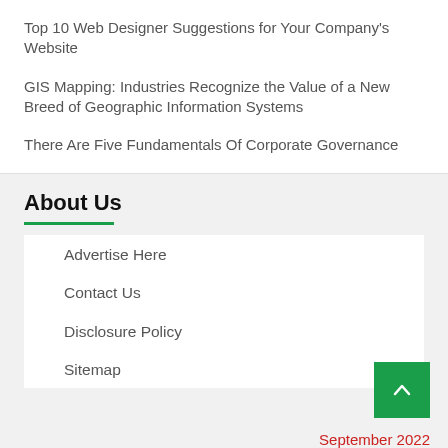Top 10 Web Designer Suggestions for Your Company's Website
GIS Mapping: Industries Recognize the Value of a New Breed of Geographic Information Systems
There Are Five Fundamentals Of Corporate Governance
About Us
Advertise Here
Contact Us
Disclosure Policy
Sitemap
September 2022